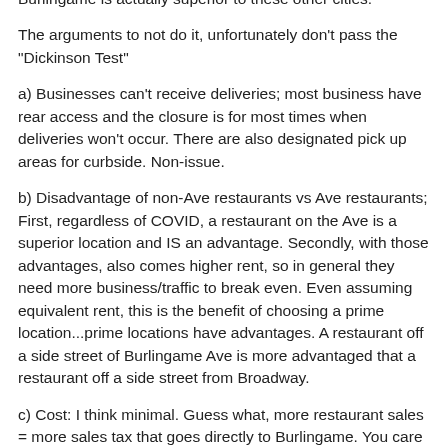Burlingame is actually superior to these other cities.
The arguments to not do it, unfortunately don't pass the "Dickinson Test"
a) Businesses can't receive deliveries; most business have rear access and the closure is for most times when deliveries won't occur. There are also designated pick up areas for curbside. Non-issue.
b) Disadvantage of non-Ave restaurants vs Ave restaurants; First, regardless of COVID, a restaurant on the Ave is a superior location and IS an advantage. Secondly, with those advantages, also comes higher rent, so in general they need more business/traffic to break even. Even assuming equivalent rent, this is the benefit of choosing a prime location...prime locations have advantages. A restaurant off a side street of Burlingame Ave is more advantaged that a restaurant off a side street from Broadway.
c) Cost: I think minimal. Guess what, more restaurant sales = more sales tax that goes directly to Burlingame. You care about costs, do something big/rational like cut that Rec center cost in half. This street closure program won't even move the needle and to the extent it can make or break some of the restaurants and that's the responsible thing for us to consider.